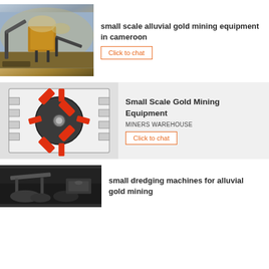[Figure (photo): Mining equipment / crushing plant with conveyor belts and dust in an arid environment]
small scale alluvial gold mining equipment in cameroon
Click to chat
[Figure (illustration): Technical illustration of a hammer mill or ore crusher showing a circular rotor with red hammers/blades from a cutaway front view]
Small Scale Gold Mining Equipment
MINERS WAREHOUSE
Click to chat
[Figure (photo): Small dredging machine or conveyor equipment for alluvial gold mining, dark industrial setting]
small dredging machines for alluvial gold mining